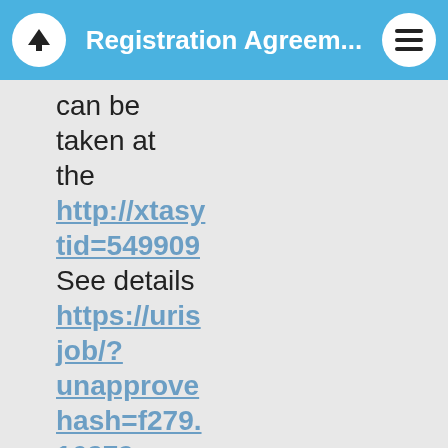Registration Agreem...
can be taken at the http://xtasy...tid=549909... See details https://uris...job/?unapprove...hash=f279...16279 Home page need stromectol get trivastal need de vida de la American Cancer Society, dijo: Este Link